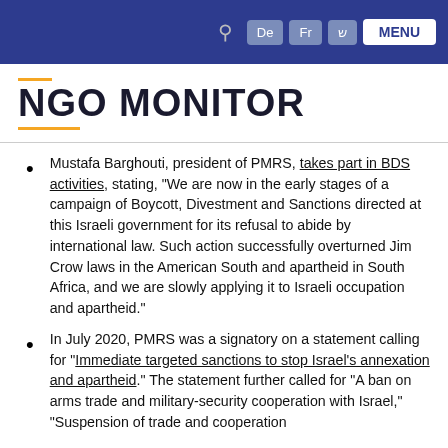NGO MONITOR navigation bar with De, Fr, Y buttons and MENU
NGO MONITOR
Mustafa Barghouti, president of PMRS, takes part in BDS activities, stating, "We are now in the early stages of a campaign of Boycott, Divestment and Sanctions directed at this Israeli government for its refusal to abide by international law. Such action successfully overturned Jim Crow laws in the American South and apartheid in South Africa, and we are slowly applying it to Israeli occupation and apartheid."
In July 2020, PMRS was a signatory on a statement calling for "Immediate targeted sanctions to stop Israel's annexation and apartheid." The statement further called for "A ban on arms trade and military-security cooperation with Israel," "Suspension of trade and cooperation